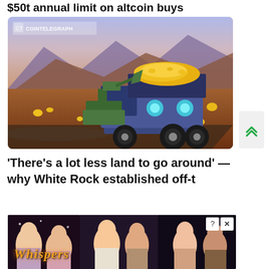$50t annual limit on altcoin buys
[Figure (illustration): Illustration of a large mining truck loaded with gold coins in a desert canyon landscape, with the Cointelegraph logo watermark in the upper left. Styled as a colorful digital illustration.]
'There's a lot less land to go around' — why White Rock established off-t
[Figure (photo): Advertisement overlay for 'Whispers' app/game showing collage of romantic couples, with a close button (X) and help button (?) in the top right corner. Dark background with the 'Whispers' logo in orange italic text at the bottom left.]